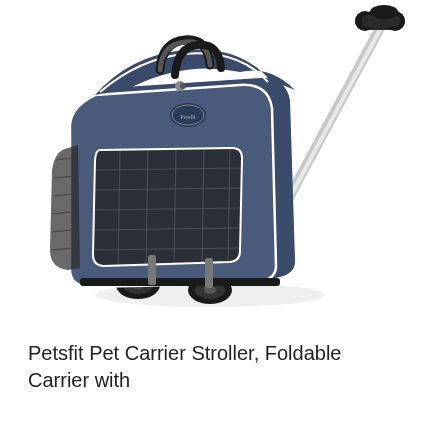[Figure (photo): A navy blue Petsfit pet carrier stroller with mesh panels, white piping trim, a retractable pull handle extended upward to the right, and small black wheels at the base. The bag has a top carry handle and zippered compartments.]
Petsfit Pet Carrier Stroller, Foldable Carrier with